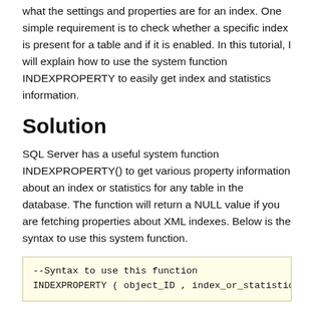what the settings and properties are for an index. One simple requirement is to check whether a specific index is present for a table and if it is enabled. In this tutorial, I will explain how to use the system function INDEXPROPERTY to easily get index and statistics information.
Solution
SQL Server has a useful system function INDEXPROPERTY() to get various property information about an index or statistics for any table in the database. The function will return a NULL value if you are fetching properties about XML indexes. Below is the syntax to use this system function.
--Syntax to use this function
INDEXPROPERTY ( object_ID , index_or_statistics_name , pr
If you do not have permission to the object that you are